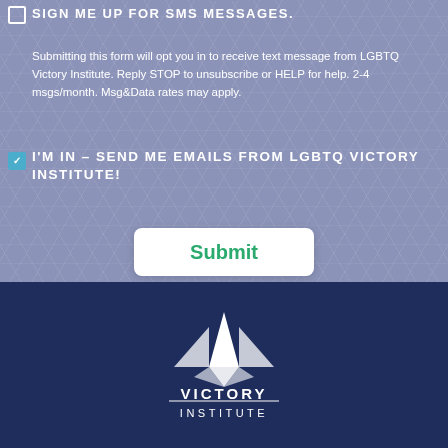SIGN ME UP FOR SMS MESSAGES.
Submitting this form will opt you in to receive text message from LGBTQ Victory Institute. Reply STOP to unsubscribe or HELP for help. 2-4 msgs/month. Msg&Data rates may apply.
I'M IN – SEND ME EMAILS FROM LGBTQ VICTORY INSTITUTE!
[Figure (other): Submit button — white rounded rectangle with green 'Submit' text]
[Figure (logo): LGBTQ Victory Institute logo — white diamond arrow icon above 'VICTORY INSTITUTE' text on dark navy background]